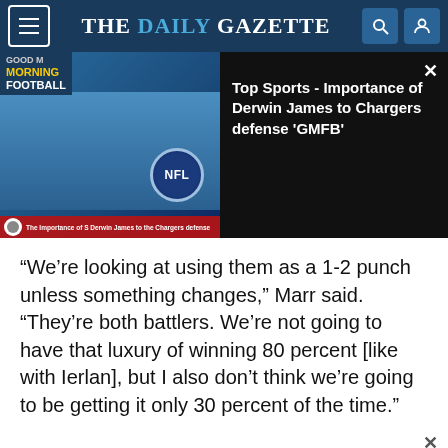THE DAILY GAZETTE
[Figure (screenshot): Video thumbnail showing a TV news set with 'Good Morning Football' branding and a male presenter. NFL logo visible. Lower third text reads 'The Importance of S Derwin James to the Chargers defense'. Right side shows black background with video title text.]
Top Sports - Importance of Derwin James to Chargers defense 'GMFB'
“We’re looking at using them as a 1-2 punch unless something changes,” Marr said. “They’re both battlers. We’re not going to have that luxury of winning 80 percent [like with Ierlan], but I also don’t think we’re going to be getting it only 30 percent of the time.”
[Figure (screenshot): Advertisement banner showing a restaurant logo, checkmarks for Dine-in and Curbside pickup options, and a blue diamond directional arrow icon.]